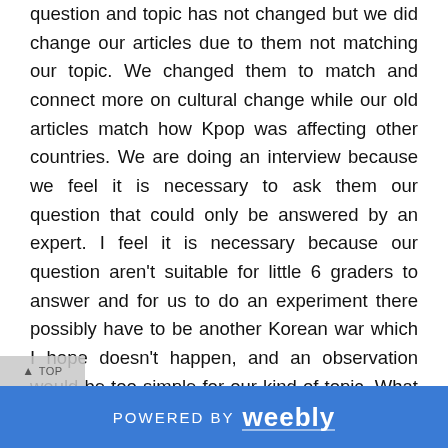question and topic has not changed but we did change our articles due to them not matching our topic. We changed them to match and connect more on cultural change while our old articles match how Kpop was affecting other countries. We are doing an interview because we feel it is necessary to ask them our question that could only be answered by an expert. I feel it is necessary because our question aren't suitable for little 6 graders to answer and for us to do an experiment there possibly have to be another Korean war which I hope doesn't happen, and an observation would be too simple for our kind of topic. What has been easy about this project is the fact that there is a lot of cultural exchange that has happened because of Kpop. So this makes articles very easy to find and also experts on this field. What has been harder has been trying to contact an expert. This has been hard because there is one person
POWERED BY weebly